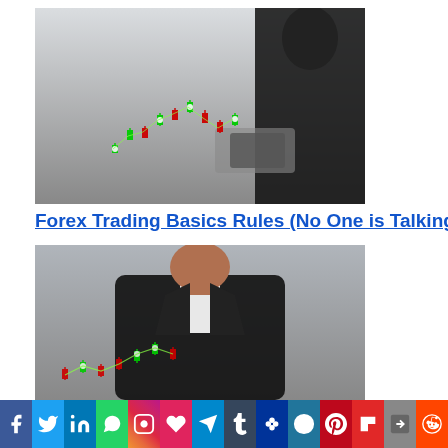[Figure (photo): Person in dark clothing holding a smartphone with forex candlestick chart overlaid floating in front]
Forex Trading Basics Rules (No One is Talking Abou…
[Figure (photo): Person in black blazer with white shirt, forex candlestick chart overlaid in lower portion]
Social sharing bar: Facebook, Twitter, LinkedIn, WhatsApp, Instagram, Email, Telegram, Tumblr, MySpace, WordPress, Pinterest, Flipboard, Share, Reddit